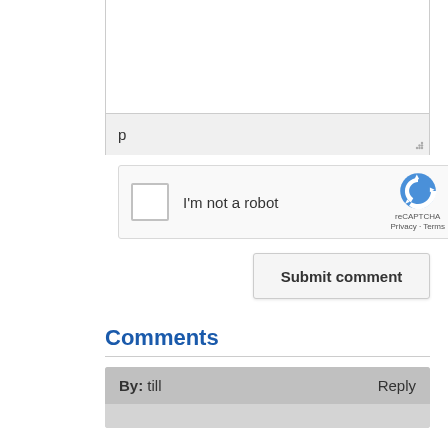[Figure (screenshot): Partially visible text input box and a smaller text field with letter 'p' and resize handle, part of a web form]
[Figure (screenshot): reCAPTCHA widget with checkbox labeled 'I'm not a robot' and reCAPTCHA logo with Privacy and Terms links]
Submit comment
Comments
By: till	Reply